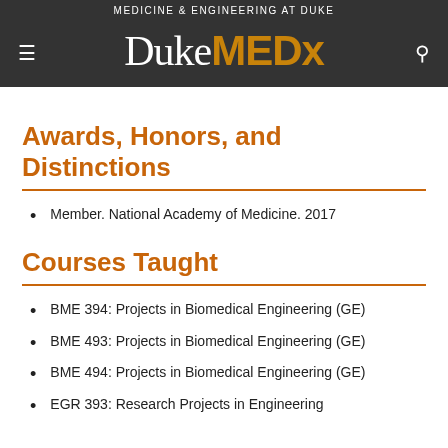MEDICINE & ENGINEERING AT DUKE
[Figure (logo): Duke MEDx logo with hamburger menu and search icon on dark background]
Awards, Honors, and Distinctions
Member. National Academy of Medicine. 2017
Courses Taught
BME 394: Projects in Biomedical Engineering (GE)
BME 493: Projects in Biomedical Engineering (GE)
BME 494: Projects in Biomedical Engineering (GE)
EGR 393: Research Projects in Engineering